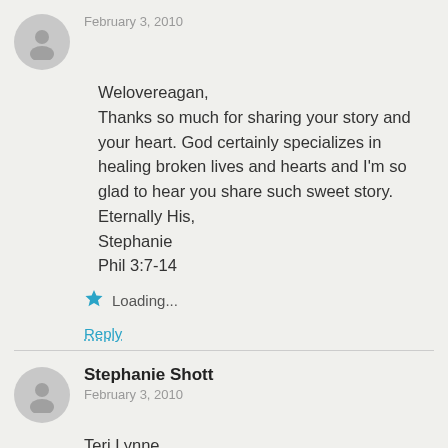February 3, 2010
Welovereagan,
Thanks so much for sharing your story and your heart. God certainly specializes in healing broken lives and hearts and I'm so glad to hear you share such sweet story.
Eternally His,
Stephanie
Phil 3:7-14
Loading...
Reply
Stephanie Shott
February 3, 2010
Teri Lynne,
Wouldn't it be wonderful if we mastered every area of our lives and our marriages! I've still got so much to work on. You'd think that after 23 years, I'd have victory over a few areas. Only when I'm walking in the Spirit. 🙂